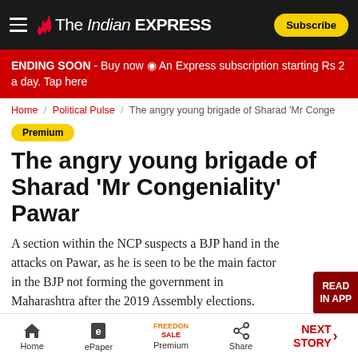The Indian Express — Subscribe
ENDING SOON - Buy now An Express subscription starting Rs 2 a day. Tap here
Home / Political Pulse / The angry young brigade of Sharad 'Mr Conge...
Premium
The angry young brigade of Sharad 'Mr Congeniality' Pawar
A section within the NCP suspects a BJP hand in the attacks on Pawar, as he is seen to be the main factor in the BJP not forming the government in Maharashtra after the 2019 Assembly elections.
ADVERTISEMENT
Home  ePaper  Premium  Share  NEXT STORY